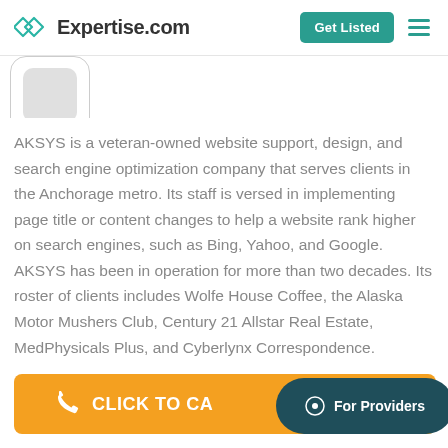Expertise.com — Get Listed
[Figure (screenshot): Partial profile image / logo placeholder circle with rounded rectangle border]
AKSYS is a veteran-owned website support, design, and search engine optimization company that serves clients in the Anchorage metro. Its staff is versed in implementing page title or content changes to help a website rank higher on search engines, such as Bing, Yahoo, and Google. AKSYS has been in operation for more than two decades. Its roster of clients includes Wolfe House Coffee, the Alaska Motor Mushers Club, Century 21 Allstar Real Estate, MedPhysicals Plus, and Cyberlynx Correspondence.
CLICK TO CA...
For Providers